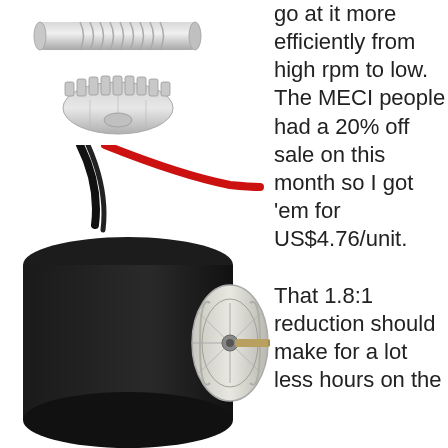[Figure (photo): 3D render of a worm gear / helical gear assembly showing a cylindrical worm screw meshing with a spur gear, both in light grey]
[Figure (photo): Photo of a black cylindrical DC motor with a white front face plate and a metal shaft extending to the right, with red and black wires coming from the top]
go at it more efficiently from high rpm to low. The MECI people had a 20% off sale on this month so I got 'em for US$4.76/unit.

That 1.8:1 reduction should make for a lot less hours on the